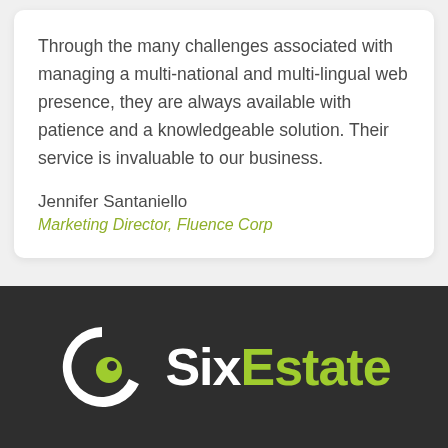Through the many challenges associated with managing a multi-national and multi-lingual web presence, they are always available with patience and a knowledgeable solution. Their service is invaluable to our business.
Jennifer Santaniello
Marketing Director, Fluence Corp
[Figure (logo): SixEstate logo: a stylized circular 'G' icon in white and yellow-green on a dark charcoal background, followed by the text 'Six' in white and 'Estate' in yellow-green, bold sans-serif.]